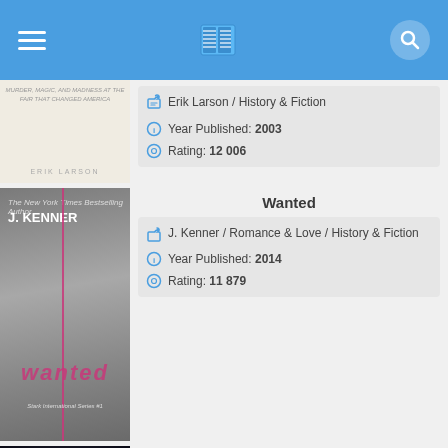App header with hamburger menu, book icon, and search icon
[Figure (screenshot): Book cover for Erik Larson book — partial view]
Erik Larson / History & Fiction
Year Published: 2003
Rating: 12 006
Wanted
[Figure (photo): Book cover for Wanted by J. Kenner — black and white photo of torso with pink text 'wanted']
J. Kenner / Romance & Love / History & Fiction
Year Published: 2014
Rating: 11 879
All Quiet on the Western Front
[Figure (photo): Book cover for All Quiet on the Western Front by Erich Maria Remarque — dark cover with soldier imagery]
Erich Maria Remarque / History & Fiction
Year Published: 1929
Rating: 11 864